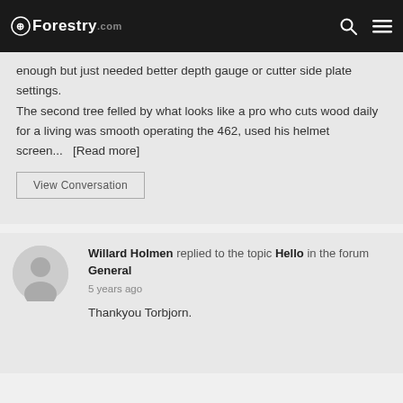Forestry.com
enough but just needed better depth gauge or cutter side plate settings. The second tree felled by what looks like a pro who cuts wood daily for a living was smooth operating the 462, used his helmet screen... [Read more]
View Conversation
Willard Holmen replied to the topic Hello in the forum General
5 years ago
Thankyou Torbjorn.